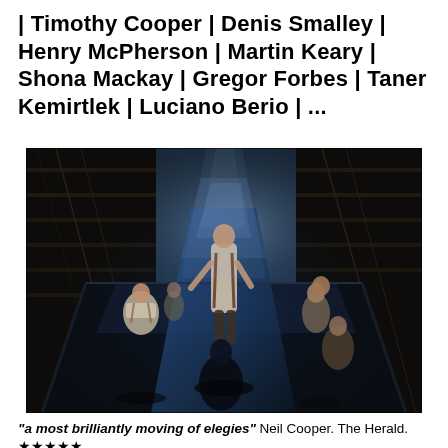| Timothy Cooper | Denis Smalley | Henry McPherson | Martin Keary | Shona Mackay | Gregor Forbes | Taner Kemirtlek | Luciano Berio | ...
[Figure (photo): A theatrical stage photo showing five performers in a dramatic, dimly lit scene. A central figure stands upright in suspenders on a ramp, while others are positioned around a large dark platform structure. The lighting creates strong contrast with dark shadows and beams of warm light.]
"a most brilliantly moving of elegies" Neil Cooper. The Herald. ★★★★★